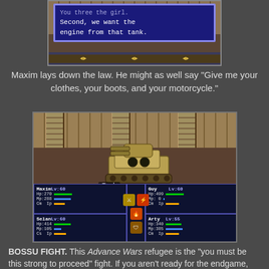[Figure (screenshot): Video game screenshot showing a blue dialog box with text: 'Second, we want the engine from that tank.' with navigation arrows at the bottom.]
Maxim lays down the law. He might as well say "Give me your clothes, your boots, and your motorcycle."
[Figure (screenshot): RPG battle screenshot showing party fighting a Tank boss. Characters: Maxim Lv:60 (Hp:270, Mp:288), Guy Lv:60 (Hp:499, Mp:0), Selan Lv:60 (Hp:414, Mp:105), Arty Lv:55 (Hp:340, Mp:385). Center shows action icons.]
BOSSU FIGHT. This Advance Wars refugee is the "you must be this strong to proceed" fight. If you aren't ready for the endgame, this is another spot where you'll find out. It dishes